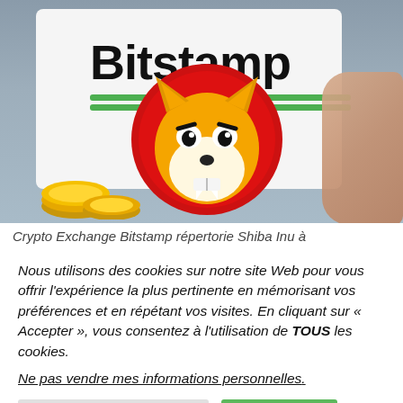[Figure (photo): Photo of a tablet displaying the Bitstamp logo with two green underlines, overlaid with the Shiba Inu (SHIB) cryptocurrency coin logo (orange dog face in red circle). Gold coins visible at bottom left, hand holding tablet on right.]
Crypto Exchange Bitstamp répertorie Shiba Inu à
Nous utilisons des cookies sur notre site Web pour vous offrir l'expérience la plus pertinente en mémorisant vos préférences et en répétant vos visites. En cliquant sur « Accepter », vous consentez à l'utilisation de TOUS les cookies.
Ne pas vendre mes informations personnelles.
Paramètres des cookies   J'accepte